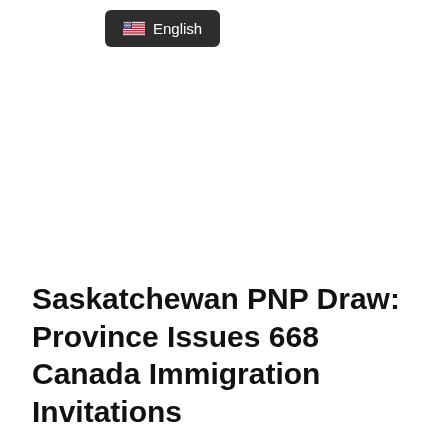[Figure (screenshot): Language selector button showing US flag emoji and the text 'English' on a dark rounded rectangle background]
Saskatchewan PNP Draw: Province Issues 668 Canada Immigration Invitations